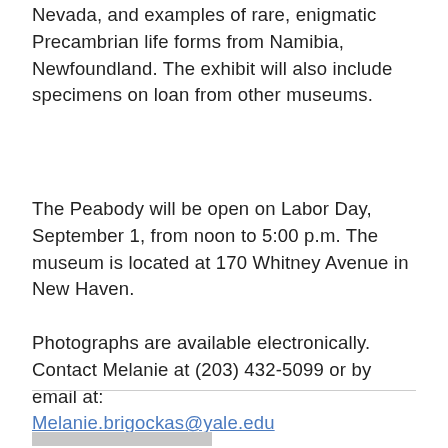Nevada, and examples of rare, enigmatic Precambrian life forms from Namibia, Newfoundland. The exhibit will also include specimens on loan from other museums.
The Peabody will be open on Labor Day, September 1, from noon to 5:00 p.m. The museum is located at 170 Whitney Avenue in New Haven.
Photographs are available electronically. Contact Melanie at (203) 432-5099 or by email at: Melanie.brigockas@yale.edu